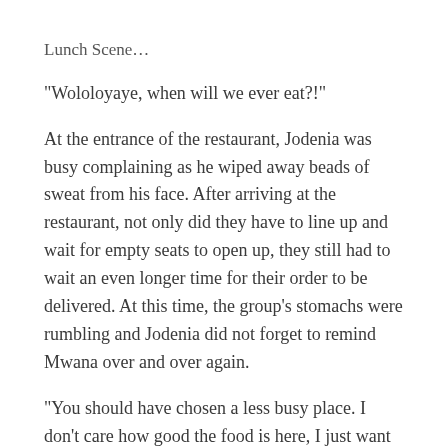Lunch Scene…
“Wololoyaye, when will we ever eat?!”
At the entrance of the restaurant, Jodenia was busy complaining as he wiped away beads of sweat from his face. After arriving at the restaurant, not only did they have to line up and wait for empty seats to open up, they still had to wait an even longer time for their order to be delivered. At this time, the group’s stomachs were rumbling and Jodenia did not forget to remind Mwana over and over again.
“You should have chosen a less busy place. I don’t care how good the food is here, I just want to fill my stomach.”
After they finally sat down and met the server, tons of meat dishes were ordered. Apart from Vitali who was a